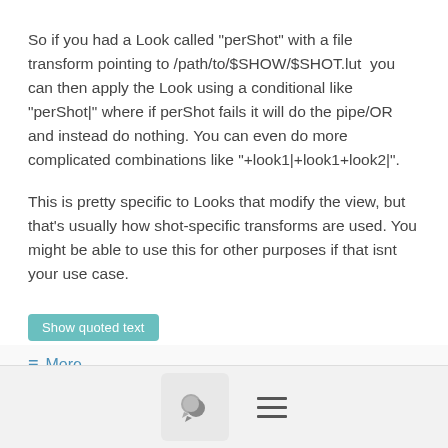So if you had a Look called "perShot" with a file transform pointing to /path/to/$SHOW/$SHOT.lut  you can then apply the Look using a conditional like "perShot|" where if perShot fails it will do the pipe/OR and instead do nothing. You can even do more complicated combinations like "+look1|+look1+look2|".
This is pretty specific to Looks that modify the view, but that's usually how shot-specific transforms are used. You might be able to use this for other purposes if that isnt your use case.
Show quoted text
≡ More
Sean Cooper <se...@...>
3/16/17